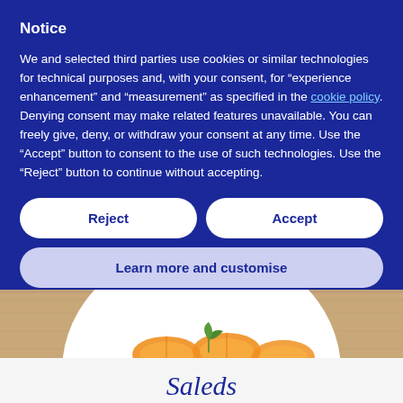Notice
We and selected third parties use cookies or similar technologies for technical purposes and, with your consent, for “experience enhancement” and “measurement” as specified in the cookie policy. Denying consent may make related features unavailable. You can freely give, deny, or withdraw your consent at any time. Use the “Accept” button to consent to the use of such technologies. Use the “Reject” button to continue without accepting.
Reject
Accept
Learn more and customise
[Figure (photo): A white plate with orange sliced food (possibly carrots or oranges) and a green herb, on a wooden cutting board background.]
Saleds